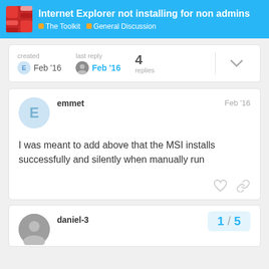Internet Explorer not installing for non admins — The Toolkit — General Discussion
created Feb '16   last reply Feb '16   4 replies
emmet Feb '16
I was meant to add above that the MSI installs successfully and silently when manually run
daniel-3   1 / 5